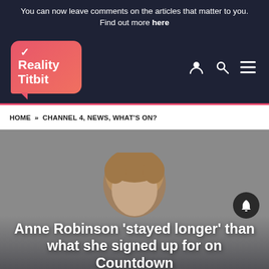You can now leave comments on the articles that matter to you. Find out more here
[Figure (logo): Reality Titbit logo — pink speech bubble with white checkmark and white bold text]
HOME » CHANNEL 4, NEWS, WHAT'S ON?
[Figure (photo): Photo of Anne Robinson against a grey background, partially visible from top of head]
Anne Robinson 'stayed longer' than what she signed up for on Countdown